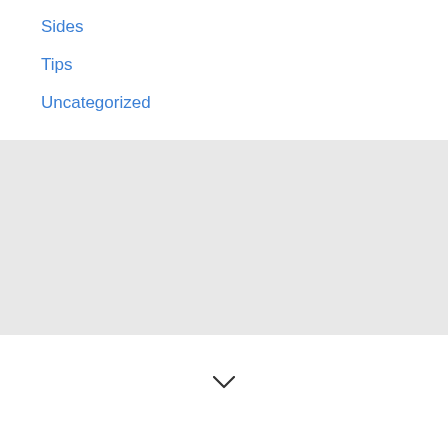Sides
Tips
Uncategorized
[Figure (other): Gray rectangular placeholder area]
[Figure (other): Chevron/arrow down icon at bottom center]